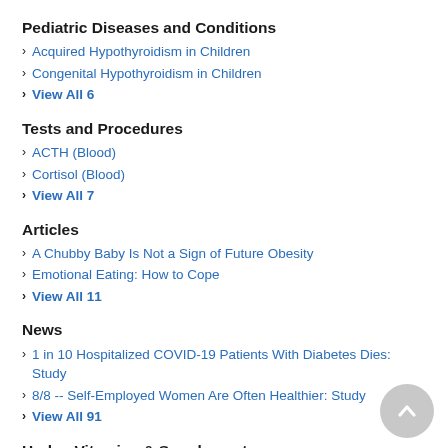Pediatric Diseases and Conditions
Acquired Hypothyroidism in Children
Congenital Hypothyroidism in Children
View All 6
Tests and Procedures
ACTH (Blood)
Cortisol (Blood)
View All 7
Articles
A Chubby Baby Is Not a Sign of Future Obesity
Emotional Eating: How to Cope
View All 11
News
1 in 10 Hospitalized COVID-19 Patients With Diabetes Dies: Study
8/8 -- Self-Employed Women Are Often Healthier: Study
View All 91
Herbs, Vitamins & Supplements
Phenylalanine
Interactive Tools